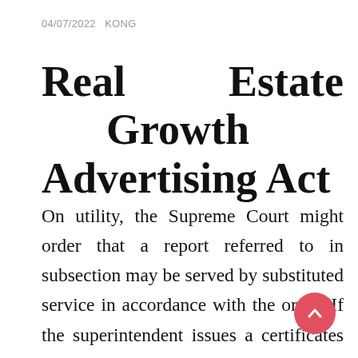04/07/2022   KONG
Real Estate Growth Advertising Act
On utility, the Supreme Court might order that a report referred to in subsection may be served by substituted service in accordance with the order. If the superintendent issues a certificates described in subsection , 2 years after the date that the facts on which the knowledge relies first got here to the date of the superintendent. Section 5 of the Offence Act doesn't apply to this Act or to the laws. If a